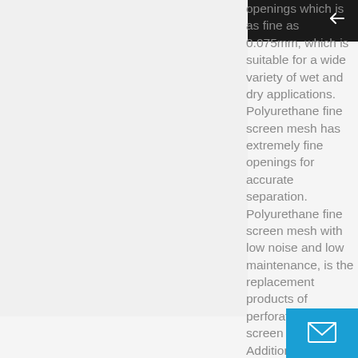Navigation bar with menu, bookmark, search, and back icons
openings which is as fine as 0.075mm, which is suitable for a wide variety of wet and dry applications. Polyurethane fine screen mesh has extremely fine openings for accurate separation. Polyurethane fine screen mesh with low noise and low maintenance, is the replacement products of perforated vibrating screen mesh. Additional, the polyurethane t